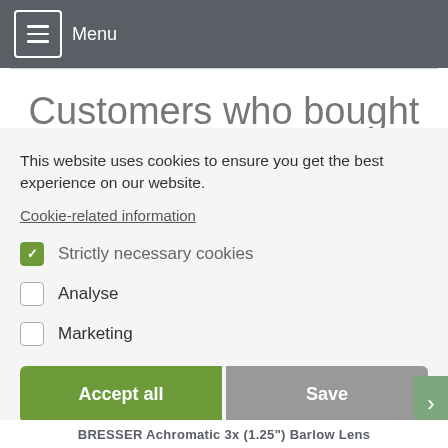Menu
Customers who bought this product also bought
This website uses cookies to ensure you get the best experience on our website.
Cookie-related information
Strictly necessary cookies
Analyse
Marketing
Accept all
Save
BRESSER Achromatic 3x (1.25") Barlow Lens